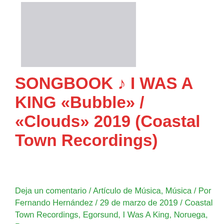[Figure (photo): Placeholder image (grey rectangle) for album/article thumbnail]
SONGBOOK ♪ I WAS A KING «Bubble» / «Clouds» 2019 (Coastal Town Recordings)
Deja un comentario / Artículo de Música, Música / Por Fernando Hernández / 29 de marzo de 2019 / Coastal Town Recordings, Egorsund, I Was A King, Noruega, Pop
Usamos cookies en nuestro sitio web para brindarle la experiencia más relevante recordando sus preferencias y visitas repetidas. Al hacer clic en "Aceptar", acepta el uso de TODAS las cookies.